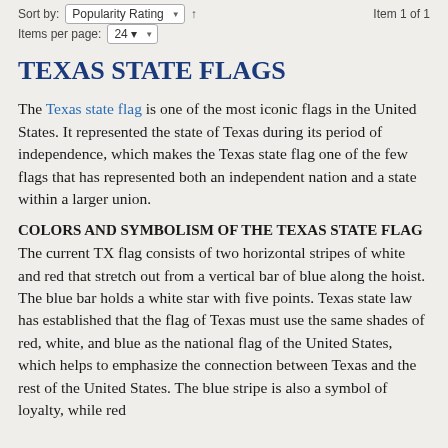Sort by: Popularity Rating | Item 1 of 1
Items per page: 24
TEXAS STATE FLAGS
The Texas state flag is one of the most iconic flags in the United States. It represented the state of Texas during its period of independence, which makes the Texas state flag one of the few flags that has represented both an independent nation and a state within a larger union.
COLORS AND SYMBOLISM OF THE TEXAS STATE FLAG
The current TX flag consists of two horizontal stripes of white and red that stretch out from a vertical bar of blue along the hoist. The blue bar holds a white star with five points. Texas state law has established that the flag of Texas must use the same shades of red, white, and blue as the national flag of the United States, which helps to emphasize the connection between Texas and the rest of the United States. The blue stripe is also a symbol of loyalty, while red